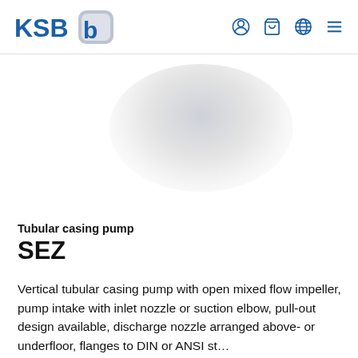KSB logo and navigation icons
[Figure (photo): Faded/blurred product image of a tubular casing pump (SEZ) shown in the hero area of the page]
Tubular casing pump
SEZ
Vertical tubular casing pump with open mixed flow impeller, pump intake with inlet nozzle or suction elbow, pull-out design available, discharge nozzle arranged above- or underfloor, flanges to DIN or ANSI standards available.